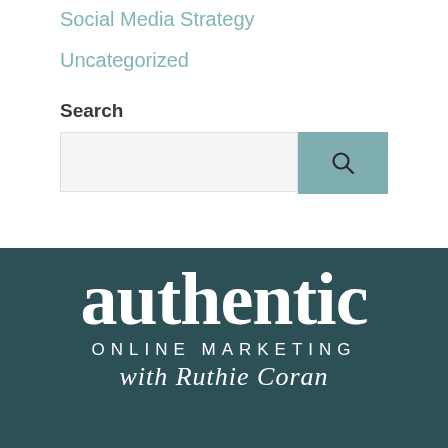Social Media Strategy
Uncategorized
Search
[Figure (screenshot): Search bar with a text input field and a teal/muted blue search button with a magnifying glass icon]
[Figure (logo): Authentic Online Marketing with Ruthie Coran logo on dark teal background. Large serif bold 'authentic' text, smaller spaced caps 'ONLINE MARKETING', italic script 'with Ruthie Coran']